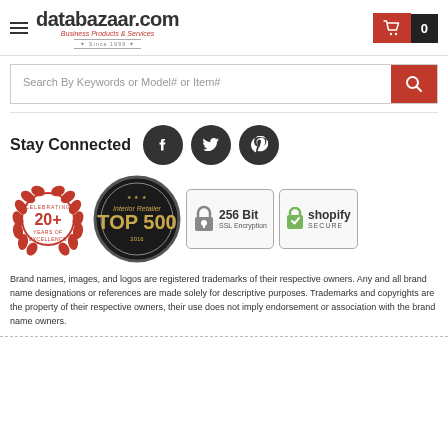databazaar.com — Business Products & Services — Since 1999
Search By Keywords or Model# or Item#
Stay Connected
[Figure (logo): Celebrating 20+ Years of Excellence badge (red wreath)]
[Figure (logo): Interior Retailer TOP 500 dark circular badge]
[Figure (logo): 256 Bit SSL Encryption badge]
[Figure (logo): Shopify Secure badge]
Brand names, images, and logos are registered trademarks of their respective owners. Any and all brand name designations or references are made solely for descriptive purposes. Trademarks and copyrights are the property of their respective owners, their use does not imply endorsement or association with the brand name owners.